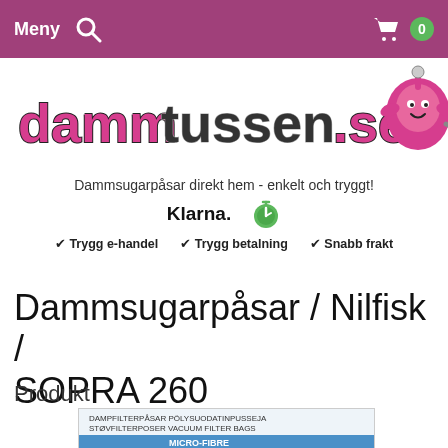Meny  [search icon]  [cart icon] 0
[Figure (logo): dammtussen.se logo with pink mascot character holding a vacuum cleaner hose]
Dammsugarpåsar direkt hem - enkelt och tryggt!
Klarna.  ✔ Trygg e-handel  ✔ Trygg betalning  ✔ Snabb frakt
Dammsugarpåsar / Nilfisk / SOPRA 260
Produkt
[Figure (photo): Product packaging for vacuum filter bags / micro-fibre bags showing ELECTROLUX and NILFISK model compatibility labels]